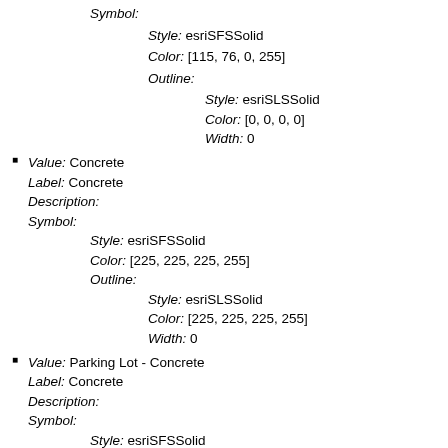Symbol: Style: esriSFSSolid Color: [115, 76, 0, 255] Outline: Style: esriSLSSolid Color: [0, 0, 0, 0] Width: 0
Value: Concrete Label: Concrete Description: Symbol: Style: esriSFSSolid Color: [225, 225, 225, 255] Outline: Style: esriSLSSolid Color: [225, 225, 225, 255] Width: 0
Value: Parking Lot - Concrete Label: Concrete Description: Symbol: Style: esriSFSSolid Color: [225, 225, 225, 255] Outline: Style: esriSLSSolid Color: [225, 225, 225, 255] Width: 0
Value: Railroad Bed - Concrete